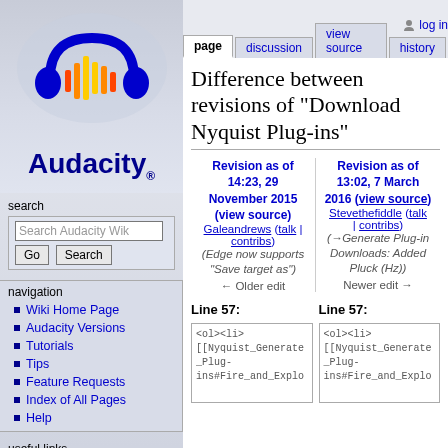[Figure (logo): Audacity logo with blue headphones and colorful waveform, with 'Audacity' text in blue below]
search
Search Audacity Wik [input field] Go Search
navigation
Wiki Home Page
Audacity Versions
Tutorials
Tips
Feature Requests
Index of All Pages
Help
useful links
Help Us With...
Bug Counts
log in | page | discussion | view source | history
Difference between revisions of "Download Nyquist Plug-ins"
Revision as of 14:23, 29 November 2015 (view source) Galeandrews (talk | contribs) (Edge now supports "Save target as") ← Older edit
Revision as of 13:02, 7 March 2016 (view source) Stevethefiddle (talk | contribs) (→Generate Plug-in Downloads: Added Pluck (Hz)) Newer edit →
Line 57:
Line 57:
<ol><li> [[Nyquist_Generate_Plug-ins#Fire_and_Explo
<ol><li> [[Nyquist_Generate_Plug-ins#Fire_and_Explo